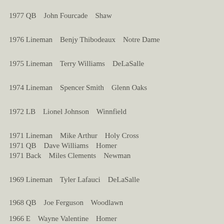1977 QB    John Fourcade    Shaw
1976 Lineman    Benjy Thibodeaux    Notre Dame
1975 Lineman    Terry Williams    DeLaSalle
1974 Lineman    Spencer Smith    Glenn Oaks
1972 LB    Lionel Johnson    Winnfield
1971 Lineman    Mike Arthur    Holy Cross
1971 QB    Dave Williams    Homer
1971 Back    Miles Clements    Newman
1969 Lineman    Tyler Lafauci    DeLaSalle
1968 QB    Joe Ferguson    Woodlawn
1966 E    Wayne Valentine    Homer